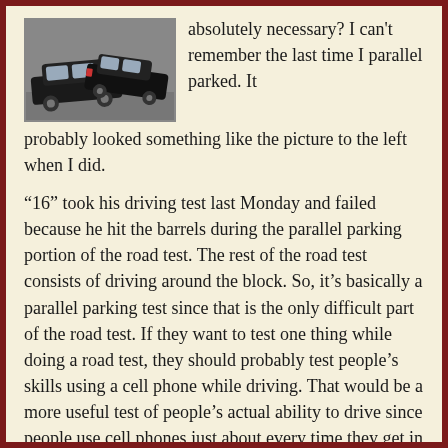[Figure (photo): Photo of two cars involved in a parking incident, shown side by side with one angled into the other]
absolutely necessary? I can't remember the last time I parallel parked. It probably looked something like the picture to the left when I did.
“16” took his driving test last Monday and failed because he hit the barrels during the parallel parking portion of the road test. The rest of the road test consists of driving around the block. So, it’s basically a parallel parking test since that is the only difficult part of the road test. If they want to test one thing while doing a road test, they should probably test people’s skills using a cell phone while driving. That would be a more useful test of people’s actual ability to drive since people use cell phones just about every time they get in the car and most people can avoid parallel parking almost completely.
This experience made me point to the DMV test...